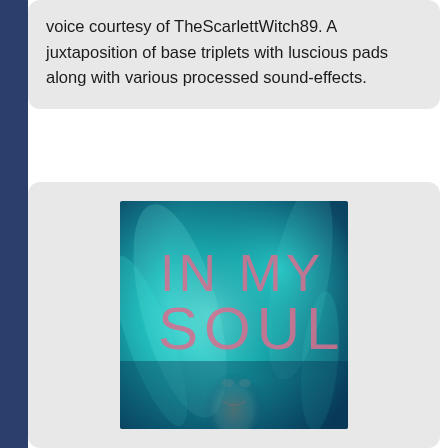voice courtesy of TheScarlettWitch89. A juxtaposition of base triplets with luscious pads along with various processed sound-effects.
[Figure (illustration): Album cover art with teal/blue abstract background showing a partially visible face and text 'IN MY SOUL' in large pink/rose colored letters]